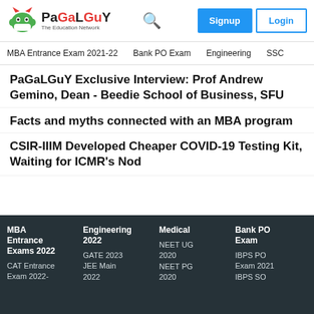PaGaLGuY – The Education Network | Signup | Login
MBA Entrance Exam 2021-22   Bank PO Exam   Engineering   SSC
PaGaLGuY Exclusive Interview: Prof Andrew Gemino, Dean - Beedie School of Business, SFU
Facts and myths connected with an MBA program
CSIR-IIIM Developed Cheaper COVID-19 Testing Kit, Waiting for ICMR's Nod
MBA Entrance Exams 2022 | Engineering 2022 | Medical | Bank PO Exam | CAT Entrance Exam 2022- | GATE 2023 | NEET UG 2020 | IBPS PO Exam 2021 | JEE Main 2022 | NEET PG 2020 | IBPS SO